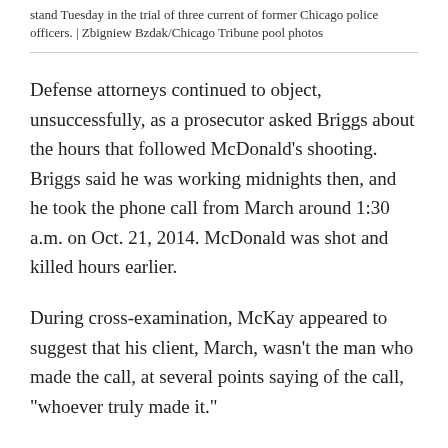stand Tuesday in the trial of three current of former Chicago police officers. | Zbigniew Bzdak/Chicago Tribune pool photos
Defense attorneys continued to object, unsuccessfully, as a prosecutor asked Briggs about the hours that followed McDonald’s shooting. Briggs said he was working midnights then, and he took the phone call from March around 1:30 a.m. on Oct. 21, 2014. McDonald was shot and killed hours earlier.
During cross-examination, McKay appeared to suggest that his client, March, wasn’t the man who made the call, at several points saying of the call, “whoever truly made it.”
3:42 p.m. Records show March preserved key pieces